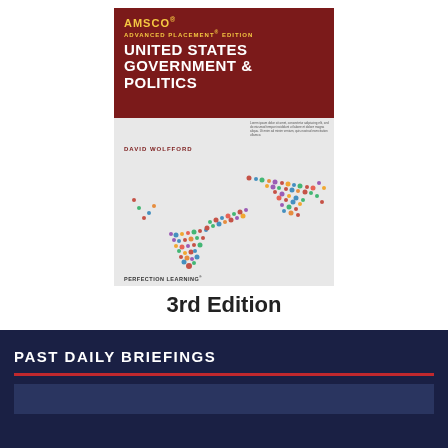[Figure (photo): Book cover of AMSCO Advanced Placement Edition United States Government & Politics, 3rd Edition by David Wolfford, published by Perfection Learning. Dark red header with gold and white text. Cover image shows a crowd of people forming a checkmark shape on a light background.]
3rd Edition
PAST DAILY BRIEFINGS